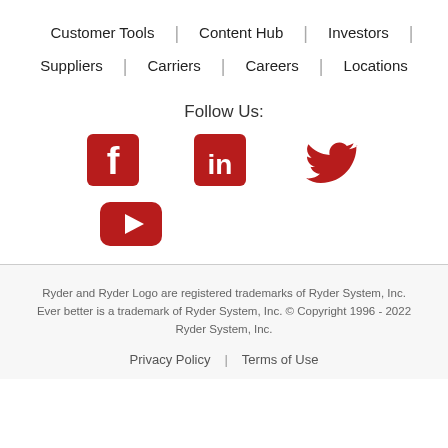Customer Tools | Content Hub | Investors | Suppliers | Carriers | Careers | Locations
Follow Us:
[Figure (logo): Facebook icon (red square with white F), LinkedIn icon (red square with white in), Twitter icon (red bird), YouTube icon (red rectangle with white play button)]
Ryder and Ryder Logo are registered trademarks of Ryder System, Inc. Ever better is a trademark of Ryder System, Inc. © Copyright 1996 - 2022 Ryder System, Inc.
Privacy Policy | Terms of Use